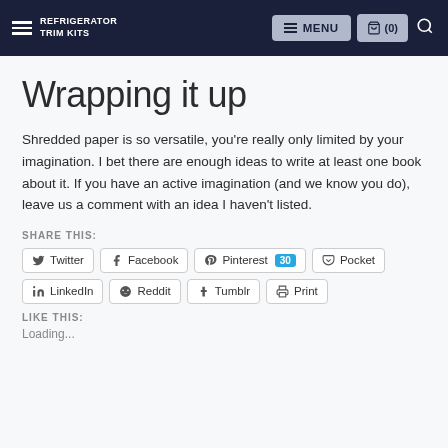REFRIGERATOR TRIM KITS  MENU  (0)
Wrapping it up
Shredded paper is so versatile, you're really only limited by your imagination. I bet there are enough ideas to write at least one book about it. If you have an active imagination (and we know you do), leave us a comment with an idea I haven't listed.
SHARE THIS:
Twitter  Facebook  Pinterest 30  Pocket  LinkedIn  Reddit  Tumblr  Print
LIKE THIS:
Loading...